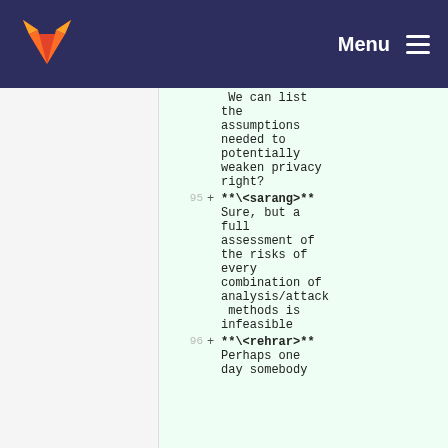Menu
We can list the assumptions needed to potentially weaken privacy right?
95 + **\<sarang>** Sure, but a full assessment of the risks of every combination of analysis/attack methods is infeasible
96 + **\<rehrar>** Perhaps one day somebody